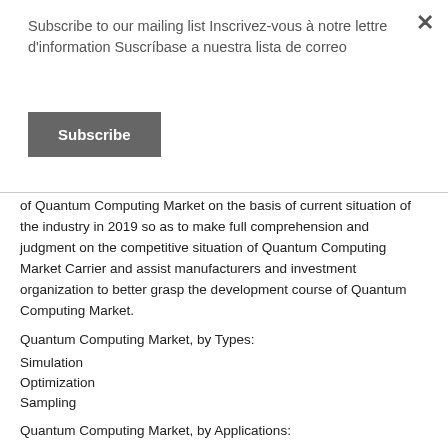Subscribe to our mailing list Inscrivez-vous à notre lettre d'information Suscríbase a nuestra lista de correo
Subscribe
of Quantum Computing Market on the basis of current situation of the industry in 2019 so as to make full comprehension and judgment on the competitive situation of Quantum Computing Market Carrier and assist manufacturers and investment organization to better grasp the development course of Quantum Computing Market.
Quantum Computing Market, by Types:
Simulation
Optimization
Sampling
Quantum Computing Market, by Applications:
Defense
Banking & Finance